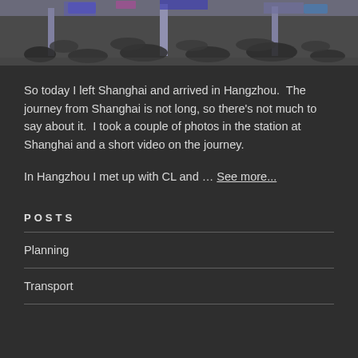[Figure (photo): Crowded train station interior, wide shot showing large crowds of people in a busy public space]
So today I left Shanghai and arrived in Hangzhou.  The journey from Shanghai is not long, so there's not much to say about it.  I took a couple of photos in the station at Shanghai and a short video on the journey.
In Hangzhou I met up with CL and … See more...
POSTS
Planning
Transport